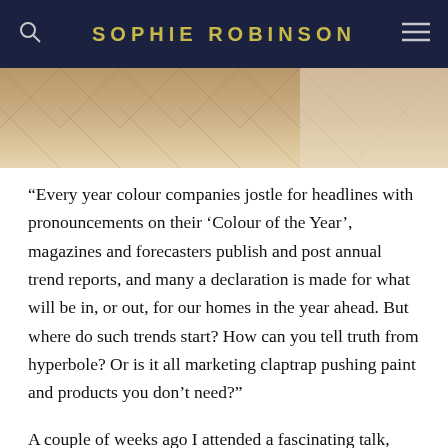SOPHIE ROBINSON
[Figure (photo): Close-up photo of light wood herringbone parquet flooring]
“Every year colour companies jostle for headlines with pronouncements on their ‘Colour of the Year’, magazines and forecasters publish and post annual trend reports, and many a declaration is made for what will be in, or out, for our homes in the year ahead. But where do such trends start? How can you tell truth from hyperbole? Or is it all marketing claptrap pushing paint and products you don’t need?”
A couple of weeks ago I attended a fascinating talk, hosted by Michelle Ogundehin, ex-editor in chief of Elle Decoration and my fellow panellist was Marianne Shillingford who is the